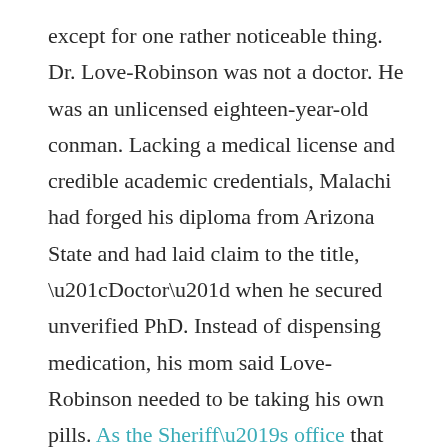except for one rather noticeable thing. Dr. Love-Robinson was not a doctor. He was an unlicensed eighteen-year-old conman. Lacking a medical license and credible academic credentials, Malachi had forged his diploma from Arizona State and had laid claim to the title, “Doctor” when he secured unverified PhD. Instead of dispensing medication, his mom said Love-Robinson needed to be taking his own pills. As the Sheriff’s office that arrested him noted, “Just because you saw a season of Grey’s Anatomy doesn’t mean you could practice medicine.”